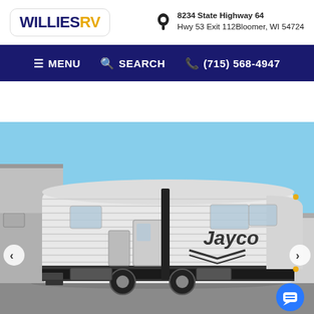Willies RV | 8234 State Highway 64 Hwy 53 Exit 112Bloomer, WI 54724
MENU  SEARCH  (715) 568-4947
[Figure (photo): Exterior photo of a Jayco travel trailer RV parked in a dealer lot under blue sky, with other RVs visible on the left and right sides.]